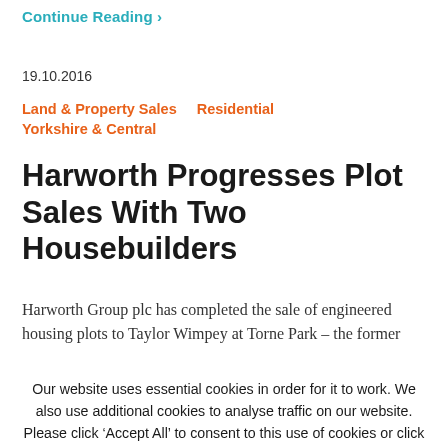Continue Reading >
19.10.2016
Land & Property Sales    Residential    Yorkshire & Central
Harworth Progresses Plot Sales With Two Housebuilders
Harworth Group plc has completed the sale of engineered housing plots to Taylor Wimpey at Torne Park – the former
Our website uses essential cookies in order for it to work. We also use additional cookies to analyse traffic on our website. Please click 'Accept All' to consent to this use of cookies or click 'Manage Cookies' to change your consent. Read More  Manage Cookies
Accept All